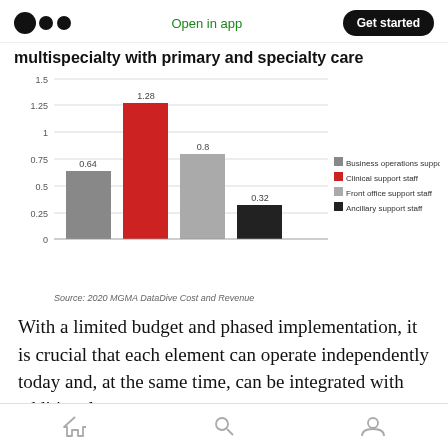Open in app | Get started
multispecialty with primary and specialty care
[Figure (bar-chart): multispecialty with primary and specialty care]
Source: 2020 MGMA DataDive Cost and Revenue
With a limited budget and phased implementation, it is crucial that each element can operate independently today and, at the same time, can be integrated with additional